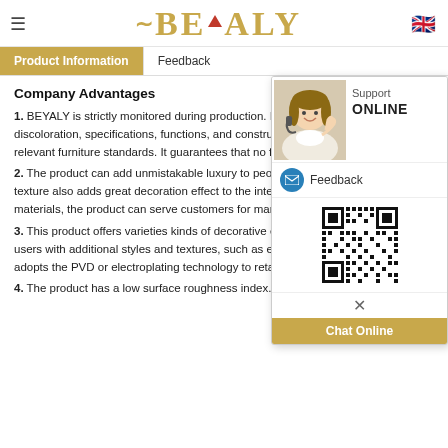BEYALY
Product Information  |  Feedback
Company Advantages
1. BEYALY is strictly monitored during production. It is checked for discoloration, specifications, functions, and construction to meet relevant furniture standards. It guarantees that no flaw is...
2. The product can add unmistakable luxury to people's life. Its texture also adds great decoration effect to the interior. Made of quality materials, the product can serve customers for many years...
3. This product offers varieties kinds of decorative embellishments to offer users with additional styles and textures, such as embroidery... adopts the PVD or electroplating technology to retain color...
4. The product has a low surface roughness index. Its surface has been treated...
[Figure (screenshot): Support ONLINE chat widget with lady customer service agent photo, Feedback mail icon, QR code, close button, and Chat Online button]